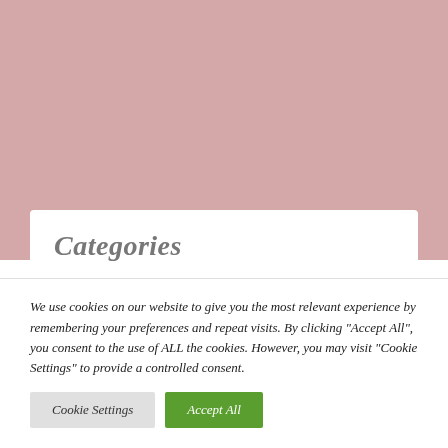[Figure (other): Pink/mauve colored background rectangle occupying the top portion of the page]
Categories
We use cookies on our website to give you the most relevant experience by remembering your preferences and repeat visits. By clicking "Accept All", you consent to the use of ALL the cookies. However, you may visit "Cookie Settings" to provide a controlled consent.